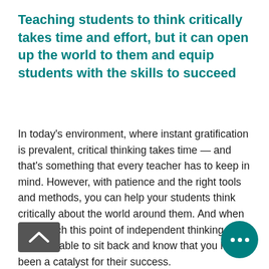Teaching students to think critically takes time and effort, but it can open up the world to them and equip students with the skills to succeed
In today's environment, where instant gratification is prevalent, critical thinking takes time — and that's something that every teacher has to keep in mind. However, with patience and the right tools and methods, you can help your students think critically about the world around them. And when they reach this point of independent thinking, you'll be able to sit back and know that you have been a catalyst for their success.